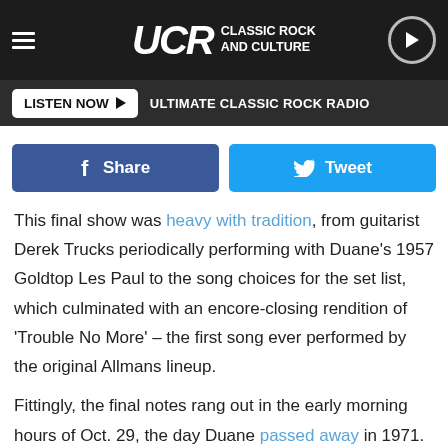UCR Classic Rock and Culture — LISTEN NOW ULTIMATE CLASSIC ROCK RADIO
[Figure (screenshot): Facebook Share button and Twitter Tweet button]
This final show was heavy with tradition, from guitarist Derek Trucks periodically performing with Duane's 1957 Goldtop Les Paul to the song choices for the set list, which culminated with an encore-closing rendition of 'Trouble No More' – the first song ever performed by the original Allmans lineup.
Fittingly, the final notes rang out in the early morning hours of Oct. 29, the day Duane passed away in 1971. The show then aired several times over the next few days on SiriusXM's Classic Vinyl channel.